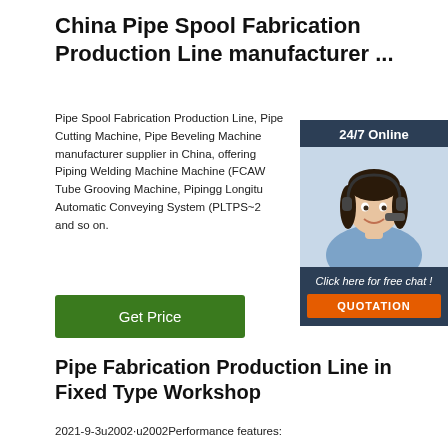China Pipe Spool Fabrication Production Line manufacturer ...
Pipe Spool Fabrication Production Line, Pipe Cutting Machine, Pipe Beveling Machine, manufacturer supplier in China, offering Piping Welding Machine Machine (FCAW Tube Grooving Machine, Pipingg Longitu Automatic Conveying System (PLTPS~2 and so on.
[Figure (photo): Customer service representative with headset, 24/7 Online chat widget with QUOTATION button]
Get Price
Pipe Fabrication Production Line in Fixed Type Workshop
2021-9-3u2002·u2002Performance features: